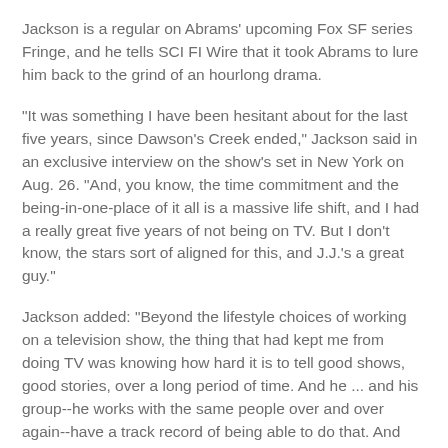Jackson is a regular on Abrams' upcoming Fox SF series Fringe, and he tells SCI FI Wire that it took Abrams to lure him back to the grind of an hourlong drama.
"It was something I have been hesitant about for the last five years, since Dawson's Creek ended," Jackson said in an exclusive interview on the show's set in New York on Aug. 26. "And, you know, the time commitment and the being-in-one-place of it all is a massive life shift, and I had a really great five years of not being on TV. But I don't know, the stars sort of aligned for this, and J.J.'s a great guy."
Jackson added: "Beyond the lifestyle choices of working on a television show, the thing that had kept me from doing TV was knowing how hard it is to tell good shows, good stories, over a long period of time. And he ... and his group--he works with the same people over and over again--have a track record of being able to do that. And that